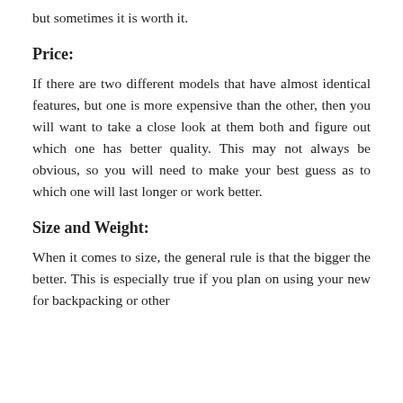but sometimes it is worth it.
Price:
If there are two different models that have almost identical features, but one is more expensive than the other, then you will want to take a close look at them both and figure out which one has better quality. This may not always be obvious, so you will need to make your best guess as to which one will last longer or work better.
Size and Weight:
When it comes to size, the general rule is that the bigger the better. This is especially true if you plan on using your new for backpacking or other